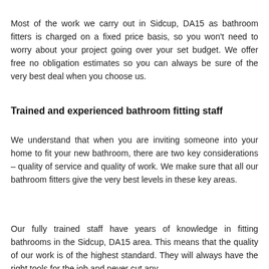Most of the work we carry out in Sidcup, DA15 as bathroom fitters is charged on a fixed price basis, so you won't need to worry about your project going over your set budget. We offer free no obligation estimates so you can always be sure of the very best deal when you choose us.
Trained and experienced bathroom fitting staff
We understand that when you are inviting someone into your home to fit your new bathroom, there are two key considerations – quality of service and quality of work. We make sure that all our bathroom fitters give the very best levels in these key areas.
Our fully trained staff have years of knowledge in fitting bathrooms in the Sidcup, DA15 area. This means that the quality of our work is of the highest standard. They will always have the right tools for the job and never cut any